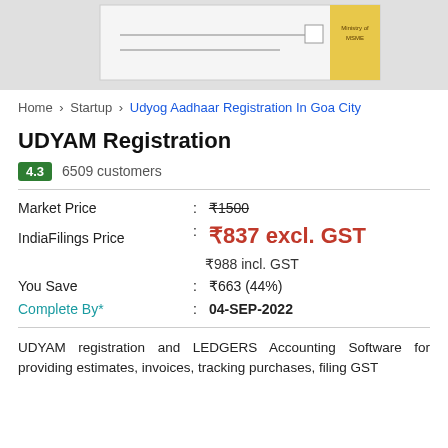[Figure (screenshot): Top portion of a document/certificate image partially visible, showing what appears to be a registration certificate with a yellow banner on the right side]
Home > Startup > Udyog Aadhaar Registration In Goa City
UDYAM Registration
4.3  6509 customers
| Label | : | Value |
| --- | --- | --- |
| Market Price | : | ₹1500 (strikethrough) |
| IndiaFilings Price | : | ₹837 excl. GST |
|  |  | ₹988 incl. GST |
| You Save | : | ₹663 (44%) |
| Complete By* | : | 04-SEP-2022 |
UDYAM registration and LEDGERS Accounting Software for providing estimates, invoices, tracking purchases, filing GST